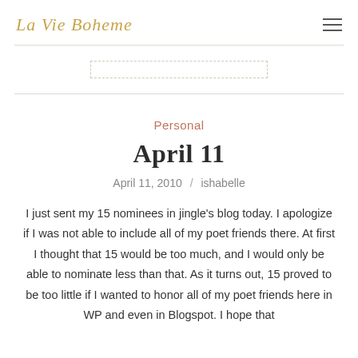La Vie Boheme
Personal
April 11
April 11, 2010 / ishabelle
I just sent my 15 nominees in jingle's blog today. I apologize if I was not able to include all of my poet friends there. At first I thought that 15 would be too much, and I would only be able to nominate less than that. As it turns out, 15 proved to be too little if I wanted to honor all of my poet friends here in WP and even in Blogspot. I hope that